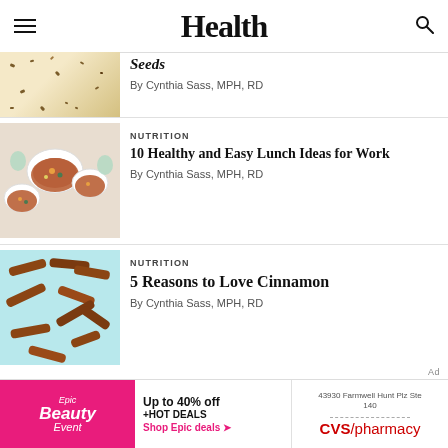Health
[Figure (photo): Partial article image showing seeds on a light background]
Seeds
By Cynthia Sass, MPH, RD
[Figure (photo): Bowls of colorful soup or stew photographed from above]
NUTRITION
10 Healthy and Easy Lunch Ideas for Work
By Cynthia Sass, MPH, RD
[Figure (photo): Cinnamon sticks scattered on a light blue background]
NUTRITION
5 Reasons to Love Cinnamon
By Cynthia Sass, MPH, RD
Ad
[Figure (other): Epic Beauty Event advertisement and CVS Pharmacy ad banner]